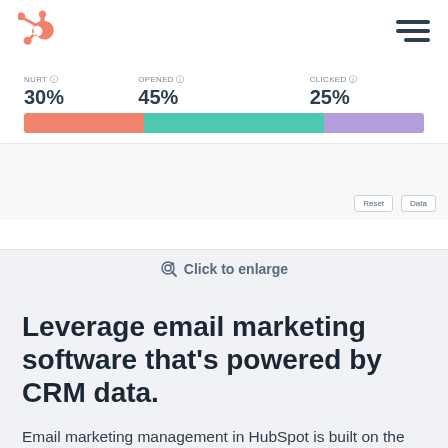HubSpot logo and navigation menu
[Figure (stacked-bar-chart): Email marketing chart screenshot]
Click to enlarge
Leverage email marketing software that's powered by CRM data.
Email marketing management in HubSpot is built on the HubSpot CRM platform, so your emails will always be powered effortlessly by your customer data. Never again will you have to ask dev or ops to pull the most